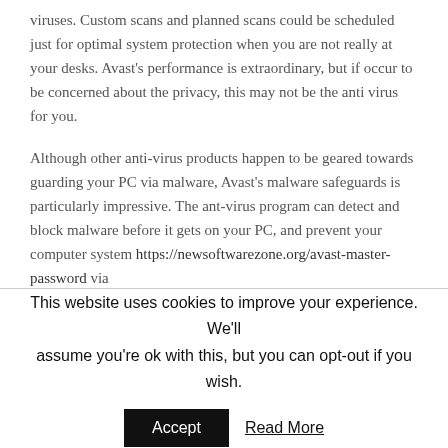viruses. Custom scans and planned scans could be scheduled just for optimal system protection when you are not really at your desks. Avast's performance is extraordinary, but if occur to be concerned about the privacy, this may not be the anti virus for you.
Although other anti-virus products happen to be geared towards guarding your PC via malware, Avast's malware safeguards is particularly impressive. The ant-virus program can detect and block malware before it gets on your PC, and prevent your computer system https://newsoftwarezone.org/avast-master-password via downloaded infections from the internet. Depending...
This website uses cookies to improve your experience. We'll assume you're ok with this, but you can opt-out if you wish.
Accept | Read More